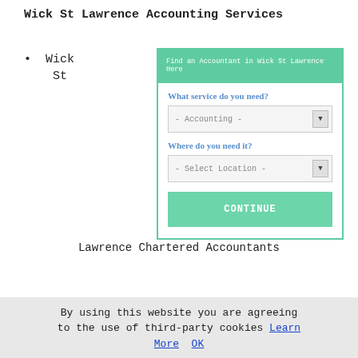Wick St Lawrence Accounting Services
Wick St
[Figure (screenshot): Web widget: 'Find an Accountant in Wick St Lawrence Here' form with dropdown for service (Accounting) and location (Select Location), and a CONTINUE button.]
Lawrence Chartered Accountants
By using this website you are agreeing to the use of third-party cookies Learn More  OK